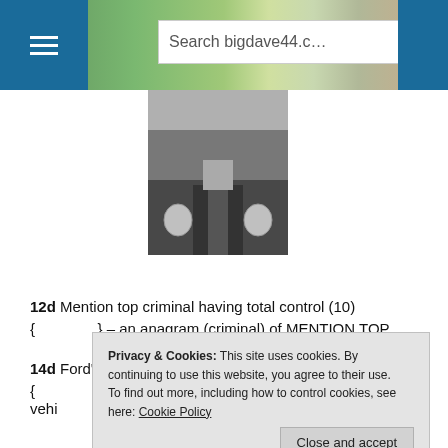[Figure (screenshot): Website header with blue hamburger menu button on left, landscape photo background, search box reading 'Search bigdave44.c', and blue button on right]
[Figure (photo): Black and white photo of person in uniform, showing neck and shoulder area with badge]
12d  Mention top criminal having total control (10)
{ } – an anagram (criminal) of MENTION TOP.
14d  Ford's place for getting wet? (3-4)
{ } – cryptic definition of where a Ford (or any other vehi
Privacy & Cookies: This site uses cookies. By continuing to use this website, you agree to their use.
To find out more, including how to control cookies, see here: Cookie Policy
Close and accept
[Figure (photo): Bottom portion of image showing water scene with number plate WJY 5736]